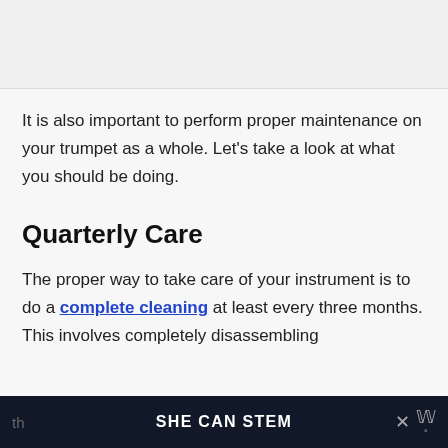It is also important to perform proper maintenance on your trumpet as a whole. Let's take a look at what you should be doing.
Quarterly Care
The proper way to take care of your instrument is to do a complete cleaning at least every three months. This involves completely disassembling th...
SHE CAN STEM